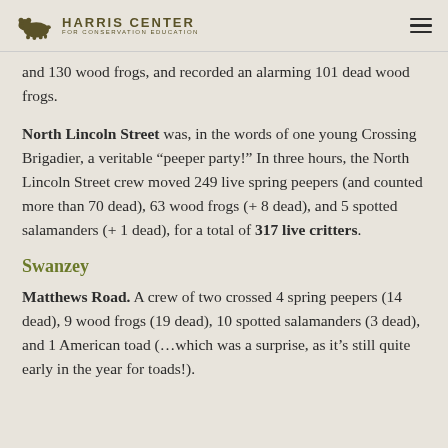Harris Center for Conservation Education
and 130 wood frogs, and recorded an alarming 101 dead wood frogs.
North Lincoln Street was, in the words of one young Crossing Brigadier, a veritable “peeper party!” In three hours, the North Lincoln Street crew moved 249 live spring peepers (and counted more than 70 dead), 63 wood frogs (+ 8 dead), and 5 spotted salamanders (+ 1 dead), for a total of 317 live critters.
Swanzey
Matthews Road. A crew of two crossed 4 spring peepers (14 dead), 9 wood frogs (19 dead), 10 spotted salamanders (3 dead), and 1 American toad (…which was a surprise, as it’s still quite early in the year for toads!).